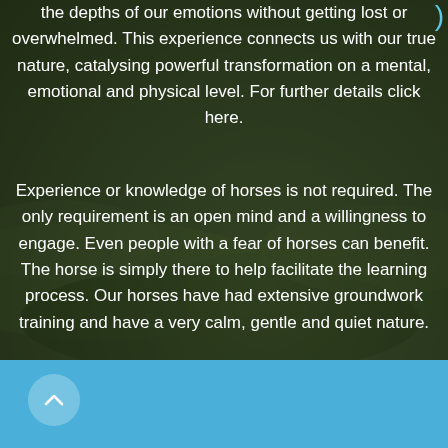the depths of our emotions without getting lost or overwhelmed. This experience connects us with our true nature, catalysing powerful transformation on a mental, emotional and physical level. For further details click here.
Experience or knowledge of horses is not required. The only requirement is an open mind and a willingness to engage. Even people with a fear of horses can benefit. The horse is simply there to help facilitate the learning process. Our horses have had extensive groundwork training and have a very calm, gentle and quiet nature.
[Figure (photo): Dark green grassy outdoor background, blurred, serving as a full-width photo background behind the text.]